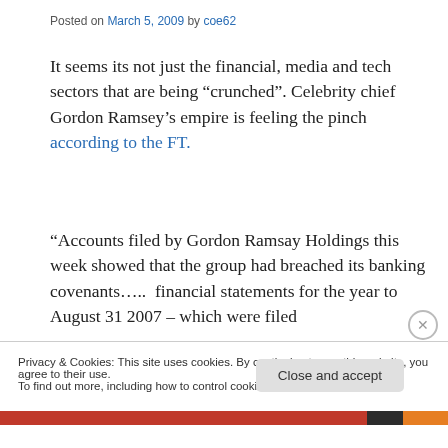Posted on March 5, 2009 by coe62
It seems its not just the financial, media and tech sectors that are being “crunched”. Celebrity chief Gordon Ramsey’s empire is feeling the pinch according to the FT.
“Accounts filed by Gordon Ramsay Holdings this week showed that the group had breached its banking covenants…..  financial statements for the year to August 31 2007 – which were filed
Privacy & Cookies: This site uses cookies. By continuing to use this website, you agree to their use.
To find out more, including how to control cookies, see here: Cookie Policy
Close and accept